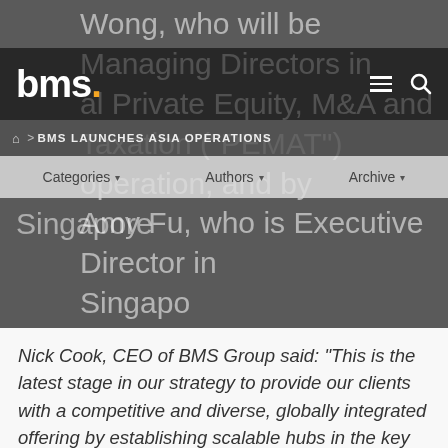Wong, who will be Managing Directors in al Private Equity, M&A and Taxation ("PEMAT") operation, and by Amy Fu, who is Executive Director in Singapore
bms.
🏠 > BMS LAUNCHES ASIA OPERATIONS
Categories ▾   Authors ▾   Archive ▾
Nick Cook, CEO of BMS Group said: "This is the latest stage in our strategy to provide our clients with a competitive and diverse, globally integrated offering by establishing scalable hubs in the key insurance markets around the world. The M&A insurance market in Asia is evolving and maturing at pace, and we are delighted that Sandra and the team